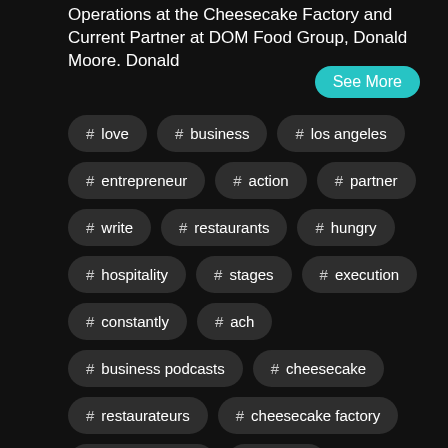Operations at the Cheesecake Factory and Current Partner at DOM Food Group, Donald Moore. Donald
See More
# love
# business
# los angeles
# entrepreneur
# action
# partner
# write
# restaurants
# hungry
# hospitality
# stages
# execution
# constantly
# ach
# business podcasts
# cheesecake
# restaurateurs
# cheesecake factory
atul gawande
# hyphen